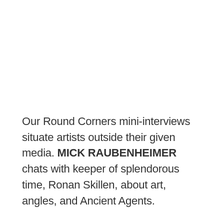Our Round Corners mini-interviews situate artists outside their given media. MICK RAUBENHEIMER chats with keeper of splendorous time, Ronan Skillen, about art, angles, and Ancient Agents.